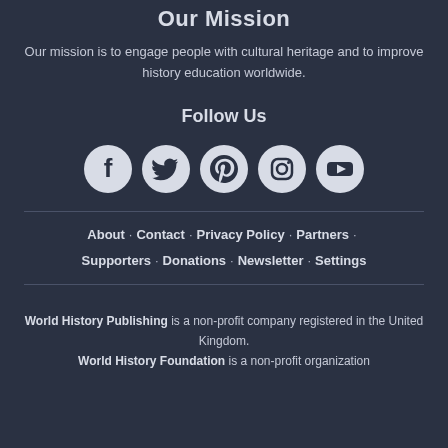Our Mission
Our mission is to engage people with cultural heritage and to improve history education worldwide.
Follow Us
[Figure (infographic): Five social media icons in circular buttons: Facebook, Twitter, Pinterest, Instagram, YouTube]
About · Contact · Privacy Policy · Partners · Supporters · Donations · Newsletter · Settings
World History Publishing is a non-profit company registered in the United Kingdom. World History Foundation is a non-profit organization